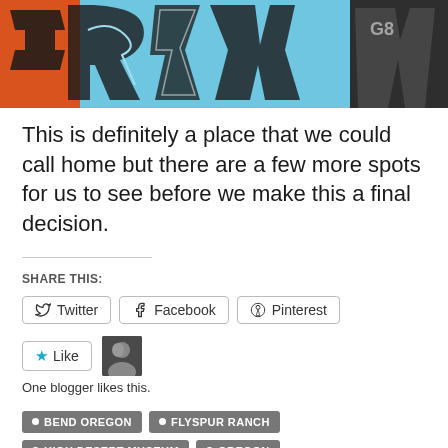[Figure (photo): Graffiti art on a wall showing colorful abstract shapes in orange, blue/cyan, black and white with text elements]
This is definitely a place that we could call home but there are a few more spots for us to see before we make this a final decision.
SHARE THIS:
Twitter  Facebook  Pinterest
Like
One blogger likes this.
BEND OREGON
FLYSPUR RANCH
HIGH DESERT MUSEUM
OREGON